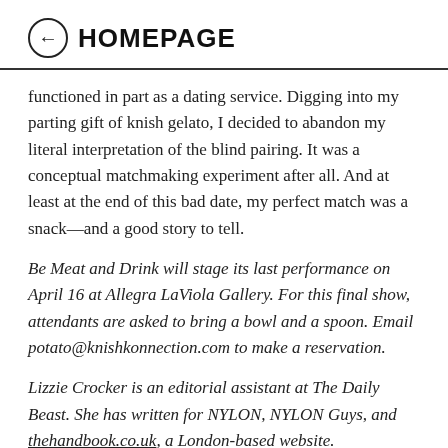← HOMEPAGE
functioned in part as a dating service. Digging into my parting gift of knish gelato, I decided to abandon my literal interpretation of the blind pairing. It was a conceptual matchmaking experiment after all. And at least at the end of this bad date, my perfect match was a snack—and a good story to tell.
Be Meat and Drink will stage its last performance on April 16 at Allegra LaViola Gallery. For this final show, attendants are asked to bring a bowl and a spoon. Email potato@knishkonnection.com to make a reservation.
Lizzie Crocker is an editorial assistant at The Daily Beast. She has written for NYLON, NYLON Guys, and thehandbook.co.uk, a London-based website.